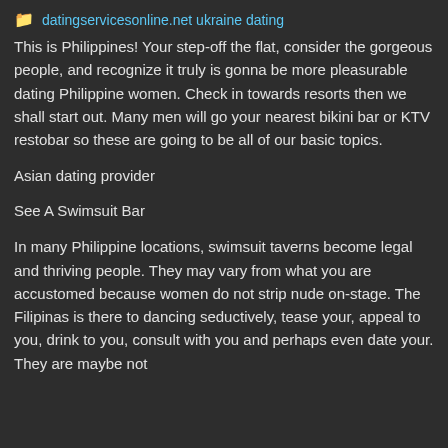datingservicesonline.net ukraine dating
This is Philippines! Your step-off the flat, consider the gorgeous people, and recognize it truly is gonna be more pleasurable dating Philippine women. Check in towards resorts then we shall start out. Many men will go your nearest bikini bar or KTV restobar so these are going to be all of our basic topics.
Asian dating provider
See A Swimsuit Bar
In many Philippine locations, swimsuit taverns become legal and thriving people. They may vary from what you are accustomed because women do not strip nude on-stage. The Filipinas is there to dancing seductively, tease your, appeal to you, drink to you, consult with you and perhaps even date your. They are maybe not